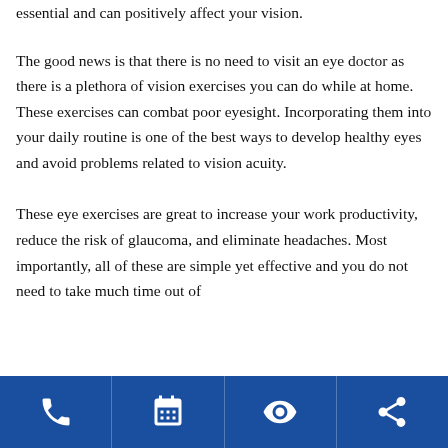essential and can positively affect your vision.
The good news is that there is no need to visit an eye doctor as there is a plethora of vision exercises you can do while at home. These exercises can combat poor eyesight. Incorporating them into your daily routine is one of the best ways to develop healthy eyes and avoid problems related to vision acuity.
These eye exercises are great to increase your work productivity, reduce the risk of glaucoma, and eliminate headaches. Most importantly, all of these are simple yet effective and you do not need to take much time out of
Phone | Calendar | Eye | Share